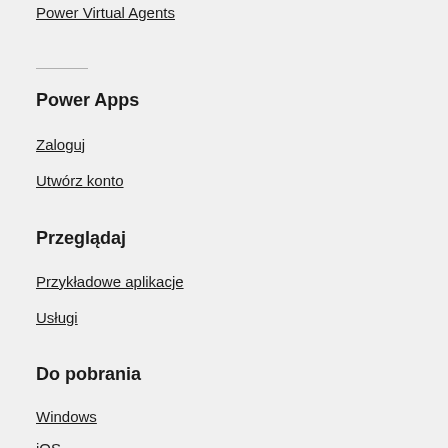Power Virtual Agents
Power Apps
Zaloguj
Utwórz konto
Przeglądaj
Przykładowe aplikacje
Usługi
Do pobrania
Windows
iOS